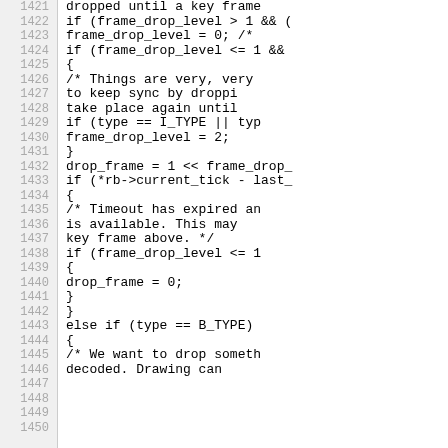[Figure (screenshot): Source code listing showing C code for frame dropping logic, lines 1421-1450, with line numbers in a grey sidebar on the left and code on the right.]